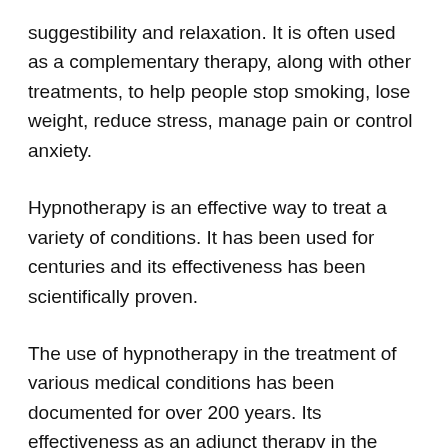suggestibility and relaxation. It is often used as a complementary therapy, along with other treatments, to help people stop smoking, lose weight, reduce stress, manage pain or control anxiety.
Hypnotherapy is an effective way to treat a variety of conditions. It has been used for centuries and its effectiveness has been scientifically proven.
The use of hypnotherapy in the treatment of various medical conditions has been documented for over 200 years. Its effectiveness as an adjunct therapy in the management of pain, anxiety and stress-related disorders has been demonstrated in many clinical trials and studies.